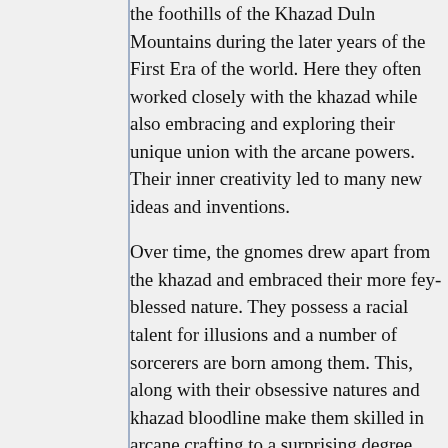the foothills of the Khazad Duln Mountains during the later years of the First Era of the world. Here they often worked closely with the khazad while also embracing and exploring their unique union with the arcane powers. Their inner creativity led to many new ideas and inventions.

Over time, the gnomes drew apart from the khazad and embraced their more fey-blessed nature. They possess a racial talent for illusions and a number of sorcerers are born among them. This, along with their obsessive natures and khazad bloodline make them skilled in arcane crafting to a surprising degree. They are known to push this focus further than even the most dedicated khazad smith; when a gnome fixates upon a weapon to be forged, it is said he